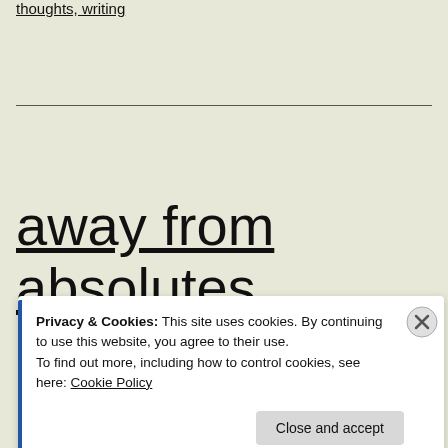thoughts, writing
away from absolutes
Privacy & Cookies: This site uses cookies. By continuing to use this website, you agree to their use.
To find out more, including how to control cookies, see here: Cookie Policy
Close and accept